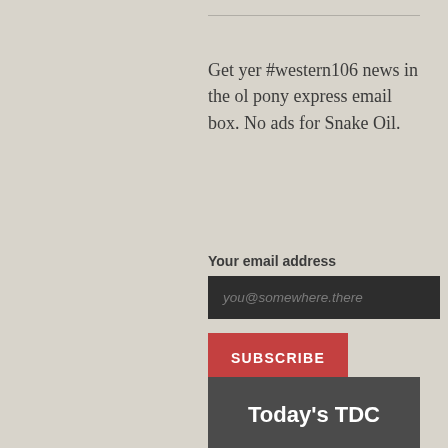Get yer #western106 news in the ol pony express email box. No ads for Snake Oil.
Your email address
you@somewhere.there
SUBSCRIBE
A TinyLetter email newsletter
WESTERN106 TWEETS
#western106 Tweets
Today's TDC